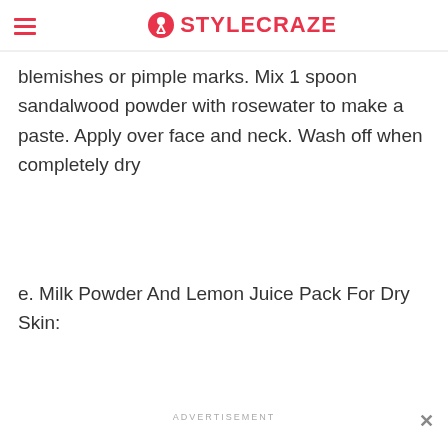STYLECRAZE
blemishes or pimple marks. Mix 1 spoon sandalwood powder with rosewater to make a paste. Apply over face and neck. Wash off when completely dry
e. Milk Powder And Lemon Juice Pack For Dry Skin:
ADVERTISEMENT